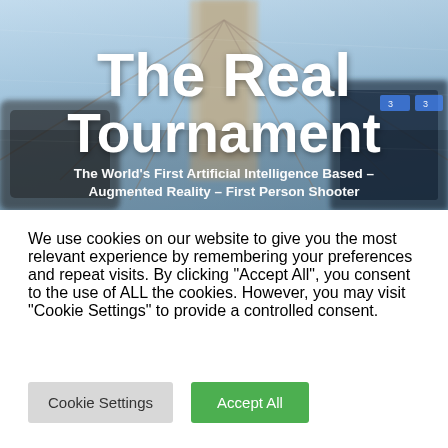[Figure (photo): Hero banner image showing a motion-blurred photo of a bridge (Brooklyn Bridge) with people holding smartphones, overlaid with augmented reality graphics. White bold title text 'The Real Tournament' and subtitle text appear over the image.]
The Real Tournament
The World's First Artificial Intelligence Based – Augmented Reality – First Person Shooter
We use cookies on our website to give you the most relevant experience by remembering your preferences and repeat visits. By clicking "Accept All", you consent to the use of ALL the cookies. However, you may visit "Cookie Settings" to provide a controlled consent.